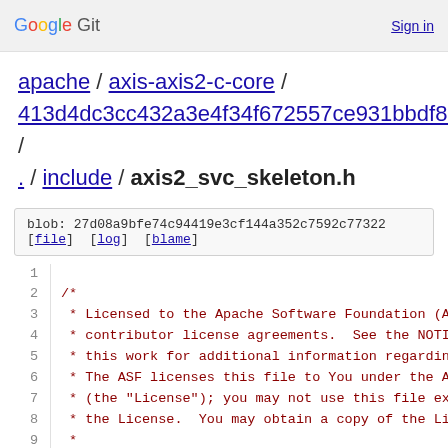Google Git  Sign in
apache / axis-axis2-c-core / 413d4dc3cc432a3e4f34f672557ce931bbdf88a9 / . / include / axis2_svc_skeleton.h
blob: 27d08a9bfe74c94419e3cf144a352c7592c77322 [file] [log] [blame]
[Figure (screenshot): Source code viewer showing lines 1-10 of axis2_svc_skeleton.h. Line 1 is empty. Lines 2-10 show the beginning of a C comment block with Apache Software Foundation license header text.]